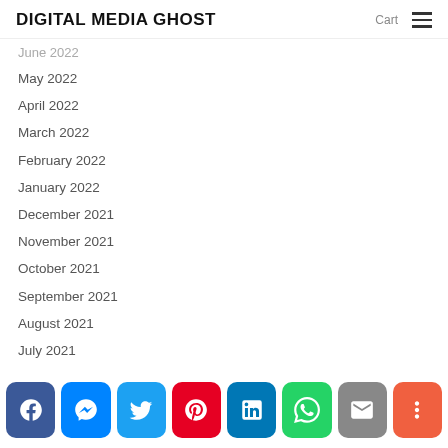DIGITAL MEDIA GHOST  Cart ☰
June 2022 (truncated/partially visible)
May 2022
April 2022
March 2022
February 2022
January 2022
December 2021
November 2021
October 2021
September 2021
August 2021
July 2021
June 2021
May 2021 (partially visible)
[Figure (infographic): Social share bar with icons: Facebook, Messenger, Twitter, Pinterest, LinkedIn, WhatsApp, Email, More (+)]